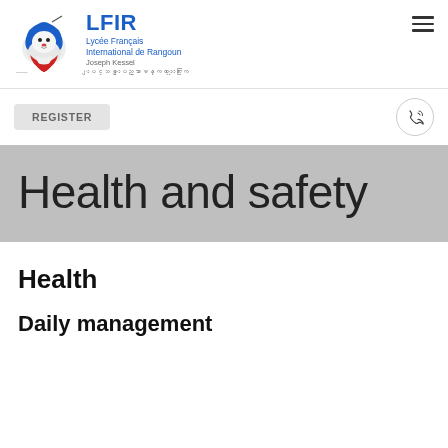[Figure (logo): LFIR school logo with lion head in blue, white, red colors and text: LFIR, Lycée Français International de Rangoun, Joseph Kessel, Myanmar text]
LFIR Lycée Français International de Rangoun Joseph Kessel
REGISTER
Health and safety
Health
Daily management